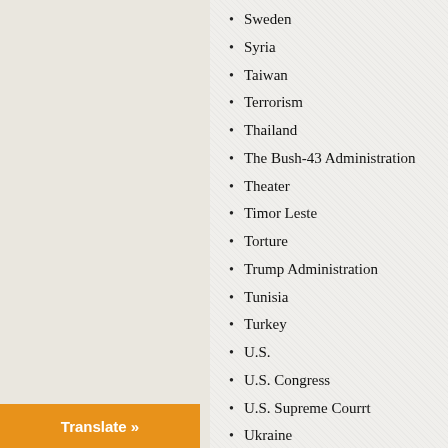Sweden
Syria
Taiwan
Terrorism
Thailand
The Bush-43 Administration
Theater
Timor Leste
Torture
Trump Administration
Tunisia
Turkey
U.S.
U.S. Congress
U.S. Supreme Courrt
Ukraine
Uncategorized
United Arab Emirates
United Kingdon